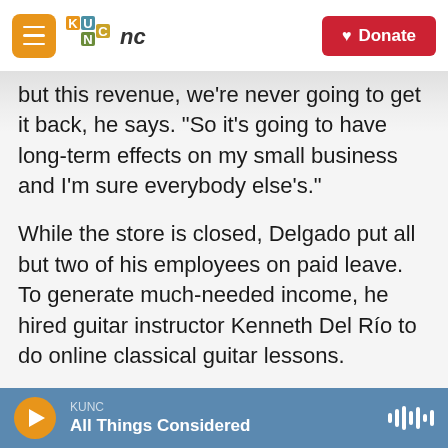KUNC — Donate
but this revenue, we're never going to get it back, he says. "So it's going to have long-term effects on my small business and I'm sure everybody else's."
While the store is closed, Delgado put all but two of his employees on paid leave. To generate much-needed income, he hired guitar instructor Kenneth Del Río to do online classical guitar lessons.
"That's helping a little bit. We're hoping that will pick up and help sustain us through the next couple months," he says. "But other than that, on the retail side of it, phone calls and walk-ins and anything else, there's not much more we can do."
KUNC — All Things Considered